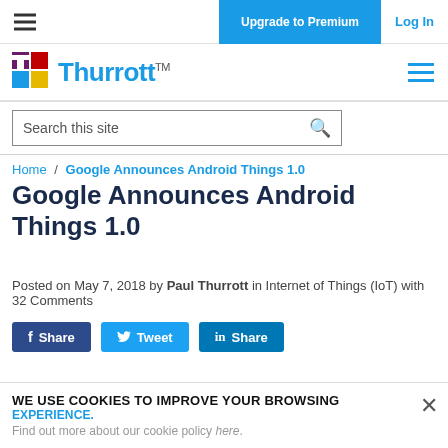Upgrade to Premium | Log In
[Figure (logo): Thurrott logo with colored squares and blue wordmark]
Search this site
Home / Google Announces Android Things 1.0
Google Announces Android Things 1.0
Posted on May 7, 2018 by Paul Thurrott in Internet of Things (IoT) with 32 Comments
Share | Tweet | Share
WE USE COOKIES TO IMPROVE YOUR BROWSING EXPERIENCE. Find out more about our cookie policy here.